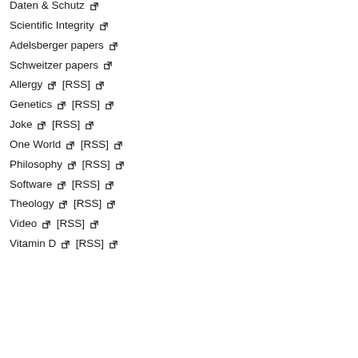Daten & Schutz [external link]
Scientific Integrity [external link]
Adelsberger papers [external link]
Schweitzer papers [external link]
Allergy [external link] [RSS] [external link]
Genetics [external link] [RSS] [external link]
Joke [external link] [RSS] [external link]
One World [external link] [RSS] [external link]
Philosophy [external link] [RSS] [external link]
Software [external link] [RSS] [external link]
Theology [external link] [RSS] [external link]
Video [external link] [RSS] [external link]
Vitamin D [external link] [RSS] [external link]